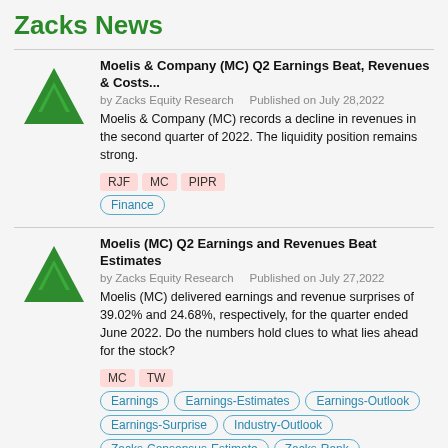Zacks News
Moelis & Company (MC) Q2 Earnings Beat, Revenues & Costs...
by Zacks Equity Research    Published on July 28,2022
Moelis & Company (MC) records a decline in revenues in the second quarter of 2022. The liquidity position remains strong.
RJF  MC  PIPR
Finance
Moelis (MC) Q2 Earnings and Revenues Beat Estimates
by Zacks Equity Research    Published on July 27,2022
Moelis (MC) delivered earnings and revenue surprises of 39.02% and 24.68%, respectively, for the quarter ended June 2022. Do the numbers hold clues to what lies ahead for the stock?
MC  TW
Earnings  Earnings-Estimates  Earnings-Outlook  Earnings-Surprise  Industry-Outlook  Zacks-Consensus-Estimate  Zacks-Rank
Analysts Estimate WisdomTree Investments, Inc. (WETF) to...